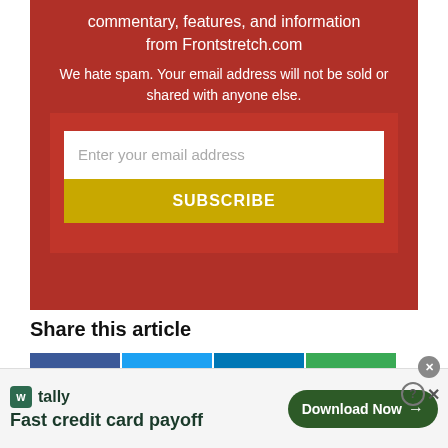commentary, features, and information from Frontstretch.com
We hate spam. Your email address will not be sold or shared with anyone else.
Enter your email address
SUBSCRIBE
Share this article
[Figure (infographic): Social share buttons: Facebook (blue), Twitter (light blue), LinkedIn (dark blue), Email (green)]
[Figure (infographic): Tally app advertisement banner with logo, 'Fast credit card payoff' tagline, and 'Download Now' button]